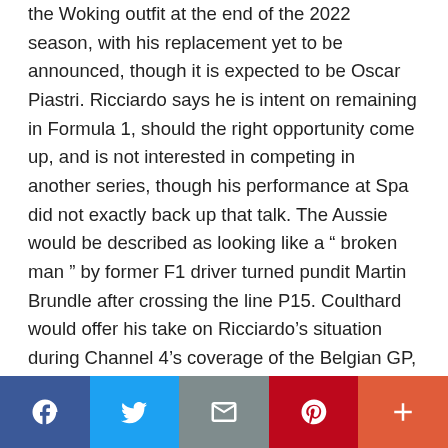the Woking outfit at the end of the 2022 season, with his replacement yet to be announced, though it is expected to be Oscar Piastri. Ricciardo says he is intent on remaining in Formula 1, should the right opportunity come up, and is not interested in competing in another series, though his performance at Spa did not exactly back up that talk. The Aussie would be described as looking like a “ broken man ” by former F1 driver turned pundit Martin Brundle after crossing the line P15. Coulthard would offer his take on Ricciardo’s situation during Channel 4’s coverage of the Belgian GP, pondering whether Ricciardo is now at
[Figure (other): Social media share bar with Facebook, Twitter, email, Pinterest, and plus buttons]